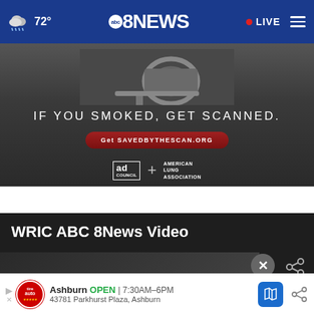72° abc 8NEWS • LIVE
[Figure (photo): Advertisement: CT scanner room with text 'IF YOU SMOKED, GET SCANNED.' and button 'Get SAVEDBYTHESCAN.ORG', logos for Ad Council and American Lung Association]
WRIC ABC 8News Video
[Figure (screenshot): Tire Auto Ashburn ad banner: OPEN 7:30AM–6PM, 43781 Parkhurst Plaza, Ashburn]